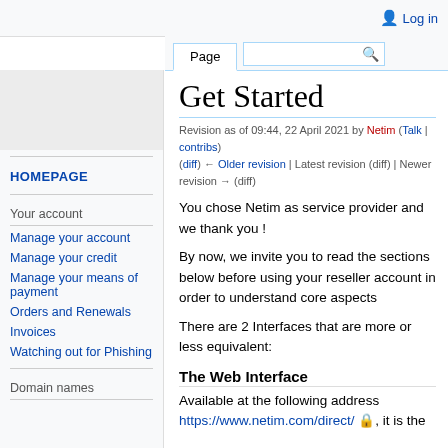Log in
Page [search]
Get Started
Revision as of 09:44, 22 April 2021 by Netim (Talk | contribs)
(diff) ← Older revision | Latest revision (diff) | Newer revision → (diff)
You chose Netim as service provider and we thank you !
By now, we invite you to read the sections below before using your reseller account in order to understand core aspects
There are 2 Interfaces that are more or less equivalent:
The Web Interface
Available at the following address https://www.netim.com/direct/ 🔒, it is the
HOMEPAGE
Your account
Manage your account
Manage your credit
Manage your means of payment
Orders and Renewals
Invoices
Watching out for Phishing
Domain names